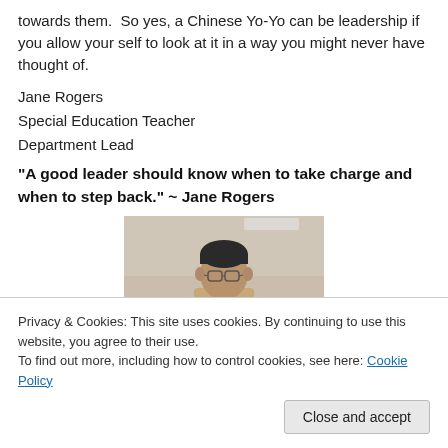towards them.  So yes, a Chinese Yo-Yo can be leadership if you allow your self to look at it in a way you might never have thought of.
Jane Rogers
Special Education Teacher
Department Lead
“A good leader should know when to take charge and when to step back.” ~ Jane Rogers
[Figure (photo): Photo of a man with glasses in a room with light-colored walls]
Privacy & Cookies: This site uses cookies. By continuing to use this website, you agree to their use.
To find out more, including how to control cookies, see here: Cookie Policy